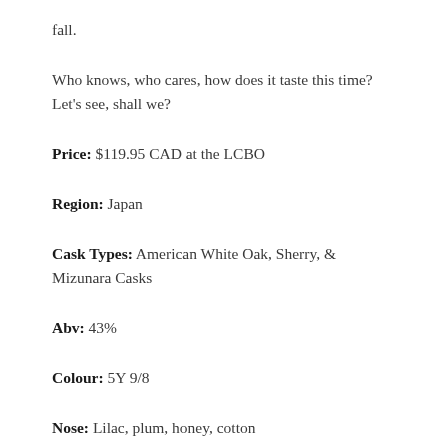fall.
Who knows, who cares, how does it taste this time? Let's see, shall we?
Price: $119.95 CAD at the LCBO
Region: Japan
Cask Types: American White Oak, Sherry, & Mizunara Casks
Abv: 43%
Colour: 5Y 9/8
Nose: Lilac, plum, honey, cotton